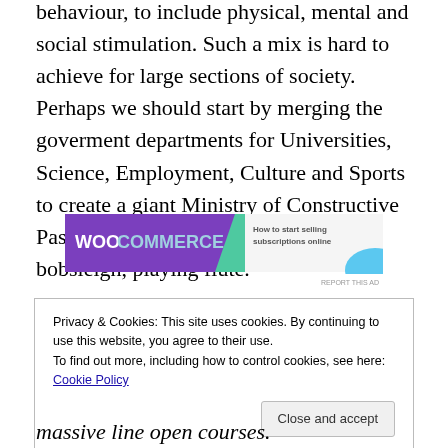behaviour, to include physical, mental and social stimulation. Such a mix is hard to achieve for large sections of society. Perhaps we should start by merging the goverment departments for Universities, Science, Employment, Culture and Sports to create a giant Ministry of Constructive Pastimes. Think David Willets, on a bobsleigh, playing flute.
[Figure (other): WooCommerce advertisement banner: purple logo on left with 'WooCommerce' text and a teal arrow shape, right side shows 'How to start selling subscriptions online' text with a light blue curved shape in corner. 'REPORT THIS AD' link at bottom right.]
Privacy & Cookies: This site uses cookies. By continuing to use this website, you agree to their use.
To find out more, including how to control cookies, see here: Cookie Policy
[Close and accept button]
massive line open courses.